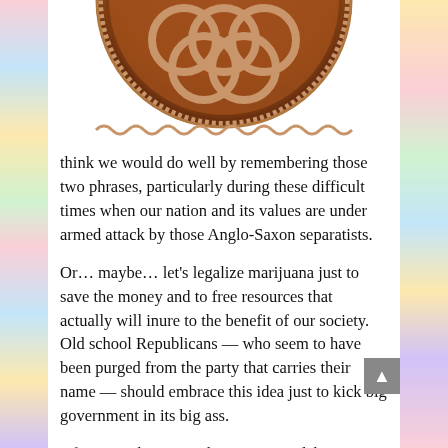[Figure (photo): Bottom portion of a decorative coin or medallion with interlocking rings and ornate border, shown against a white background with colorful patterned side borders.]
think we would do well by remembering those two phrases, particularly during these difficult times when our nation and its values are under armed attack by those Anglo-Saxon separatists.
Or… maybe… let's legalize marijuana just to save the money and to free resources that actually will inure to the benefit of our society. Old school Republicans — who seem to have been purged from the party that carries their name — should embrace this idea just to kick big government in its big ass.
Of course, there are other ways to celebrate 420. Personally, I'm partying down at my local vaccine clinic and getting my second jab. I'm told I will likely get sick for a couple of days, and I appreciate